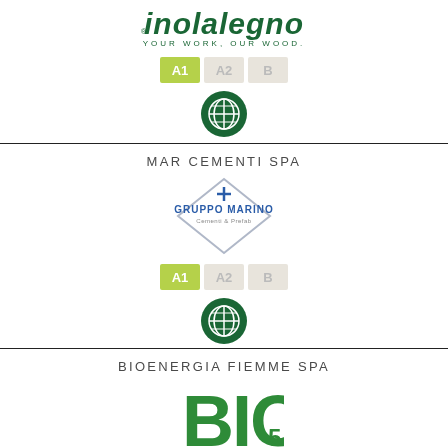[Figure (logo): Inolalegno logo with text 'YOUR WORK, OUR WOOD.']
[Figure (infographic): Grade rating boxes: A1 (highlighted green), A2 (grey), B (grey)]
[Figure (logo): Green circle globe/world icon]
MAR CEMENTI SPA
[Figure (logo): Gruppo Marino logo - diamond shape with blue cross and text 'Cementi & Prefab']
[Figure (infographic): Grade rating boxes: A1 (highlighted green), A2 (grey), B (grey)]
[Figure (logo): Green circle globe/world icon]
BIOENERGIA FIEMME SPA
[Figure (logo): BIO logo in large green text (partially visible)]